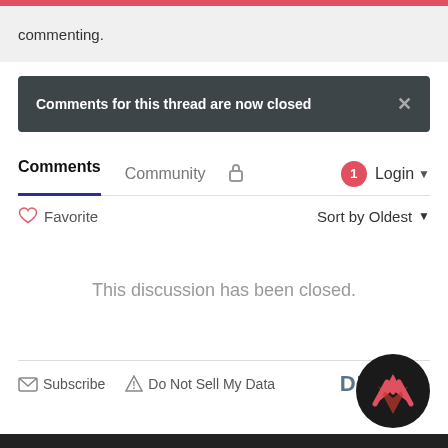commenting.
Comments for this thread are now closed
Comments   Community   🔒   1   Login
♡ Favorite   Sort by Oldest
This discussion has been closed.
Subscribe   Do Not Sell My Data   DISQUS
[Figure (logo): Disqus-related circular logo with black background and red/pink chevron mark]